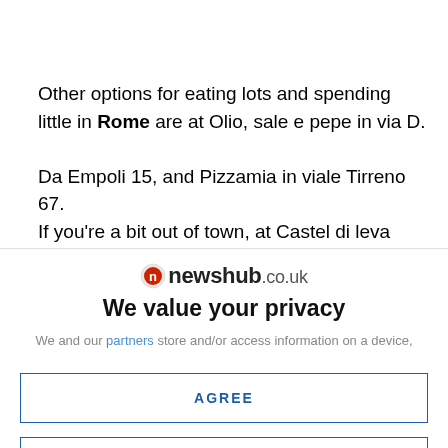Other options for eating lots and spending little in Rome are at Olio, sale e pepe in via D.

Da Empoli 15, and Pizzamia in viale Tirreno 67.
If you're a bit out of town, at Castel di leva there's Merlo parlante in via F.
[Figure (logo): Newshub.co.uk logo with red circle icon on the left]
We value your privacy
We and our partners store and/or access information on a device, such as cookies and process personal data, such as unique identifiers
AGREE
MORE OPTIONS